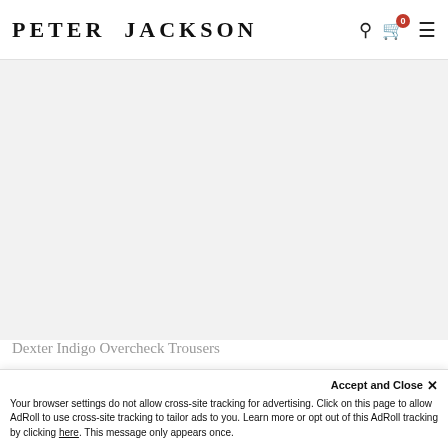PETER JACKSON
[Figure (other): Large gray placeholder area for product image]
Dexter Indigo Overcheck Trousers
Accept and Close ×
Your browser settings do not allow cross-site tracking for advertising. Click on this page to allow AdRoll to use cross-site tracking to tailor ads to you. Learn more or opt out of this AdRoll tracking by clicking here. This message only appears once.